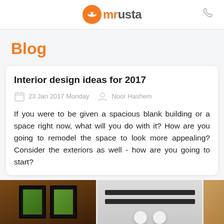mr Usta
Blog
Interior design ideas for 2017
23 Jan 2017 Monday   Noor Hashem
If you were to be given a spacious blank building or a space right now, what will you do with it? How are you going to remodel the space to look more appealing? Consider the exteriors as well - how are you going to start?
[Figure (photo): Three photos side by side: framed green nature photos on dark wall, ceiling with AC unit and pendant lights, and a wood-toned panel.]